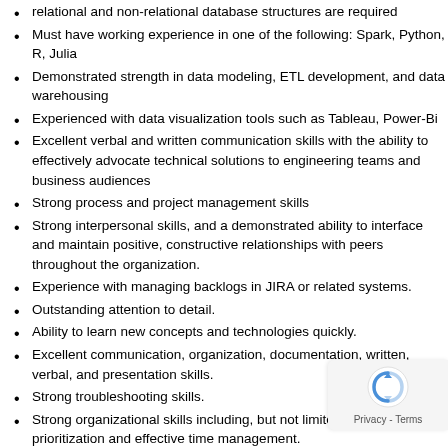relational and non-relational database structures are required
Must have working experience in one of the following: Spark, Python, R, Julia
Demonstrated strength in data modeling, ETL development, and data warehousing
Experienced with data visualization tools such as Tableau, Power-Bi
Excellent verbal and written communication skills with the ability to effectively advocate technical solutions to engineering teams and business audiences
Strong process and project management skills
Strong interpersonal skills, and a demonstrated ability to interface and maintain positive, constructive relationships with peers throughout the organization.
Experience with managing backlogs in JIRA or related systems.
Outstanding attention to detail.
Ability to learn new concepts and technologies quickly.
Excellent communication, organization, documentation, written, verbal, and presentation skills.
Strong troubleshooting skills.
Strong organizational skills including, but not limited to, task prioritization and effective time management.
Excellent analytical skills demonstrating good judgment and